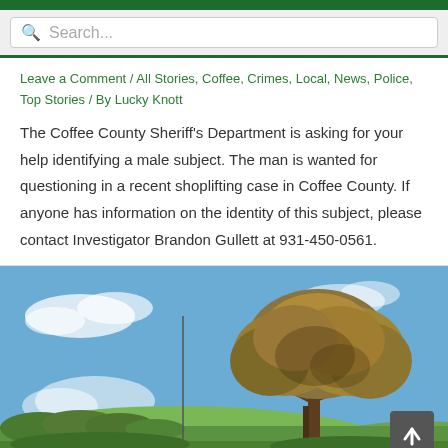Search...
Leave a Comment / All Stories, Coffee, Crimes, Local, News, Police, Top Stories / By Lucky Knott
The Coffee County Sheriff's Department is asking for your help identifying a male subject. The man is wanted for questioning in a recent shoplifting case in Coffee County. If anyone has information on the identity of this subject, please contact Investigator Brandon Gullett at 931-450-0561.
[Figure (photo): Outdoor scene showing a large leafy tree with brown-green foliage against a blue sky with some clouds, with rolling hills and green landscape in the background.]